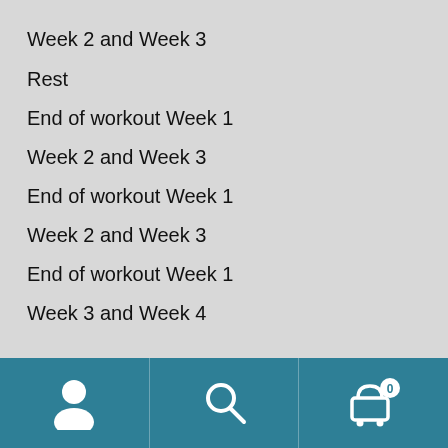Week 2 and Week 3
Rest
End of workout Week 1
Week 2 and Week 3
End of workout Week 1
Week 2 and Week 3
End of workout Week 1
Week 3 and Week 4
[Figure (screenshot): Mobile app navigation bar with teal/dark-cyan background featuring three icons: user/profile icon on left, search/magnifying glass icon in center, and shopping cart icon with badge showing '0' on right. Vertical dividers separate the three sections.]